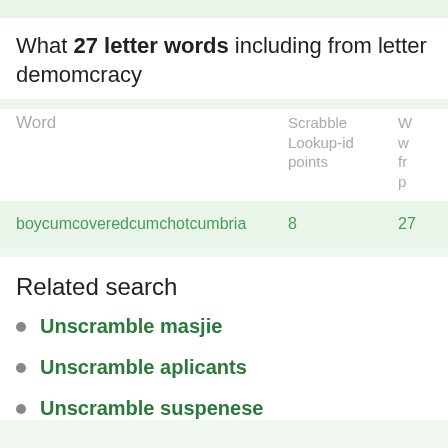What 27 letter words including from letter demomcracy
| Word | Scrabble Lookup-id points | W...fr...p... |
| --- | --- | --- |
| boycumcoveredcumchotcumbria | 8 | 27 |
Related search
Unscramble masjie
Unscramble aplicants
Unscramble suspenese